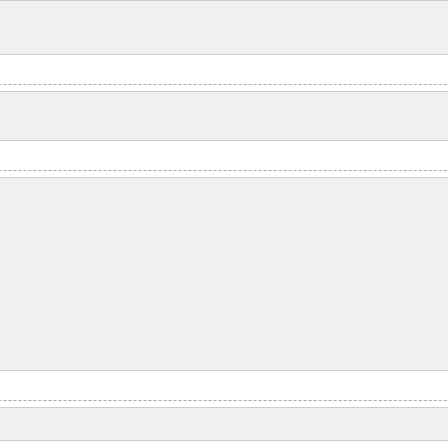Posted by: J.J. Sefton at June 17, 2015 06:...
Well that's reason enough to get excited ab...
Posted by: flounder at June 17, 2015 07:46 AM (
192 So are we supposed to refer to it as pa... Industrial Age jump on Ace's time machin...
Posted by: Muldoon, a solid man at June 17, 201...
193 Good thing you didn't say that on the...
Posted by: �Washington Nearsider, Keep... (fwARV)
I know better than that.
Posted by: DangerGirl at June 17, 2015 07:47 AM
194 Oh FFS black diamonds again.